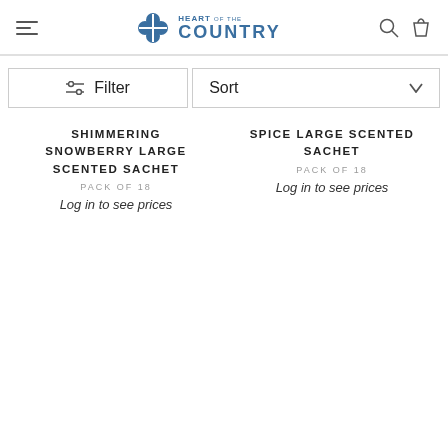Heart of the Country — navigation header with hamburger menu, logo, search and cart icons
Filter
Sort
SHIMMERING SNOWBERRY LARGE SCENTED SACHET
PACK OF 18
Log in to see prices
SPICE LARGE SCENTED SACHET
PACK OF 18
Log in to see prices